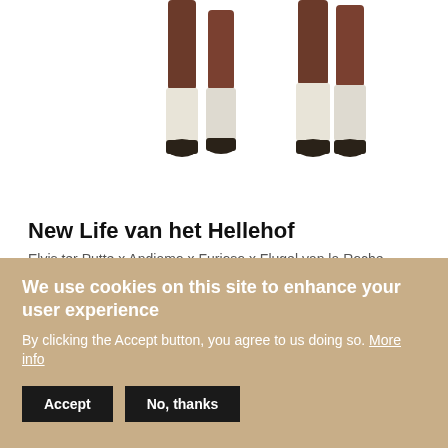[Figure (photo): Horse legs with white bandages/wraps on lower legs, brown coat, hooves visible, white background, partially cropped at top]
New Life van het Hellehof
Elvis ter Putte x Andiamo x Furioso x Flugel van la Roche
Birth year: 2013
[Figure (photo): Brown horse with bridle, head and neck visible, mane braided, white background, partially cut off by cookie banner]
We use cookies on this site to enhance your user experience
By clicking the Accept button, you agree to us doing so. More info
Accept
No, thanks